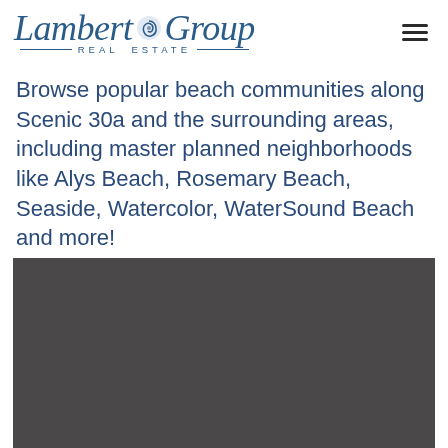Lambert Group Real Estate — logo with hamburger menu
Browse popular beach communities along Scenic 30a and the surrounding areas, including master planned neighborhoods like Alys Beach, Rosemary Beach, Seaside, Watercolor, WaterSound Beach and more!
[Figure (photo): Dark gray/charcoal image block, appears to be a photo placeholder or loading image of a beach community]